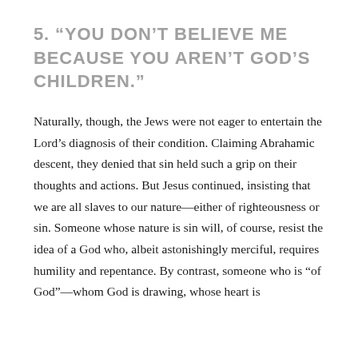5. “YOU DON’T BELIEVE ME BECAUSE YOU AREN’T GOD’S CHILDREN.”
Naturally, though, the Jews were not eager to entertain the Lord’s diagnosis of their condition. Claiming Abrahamic descent, they denied that sin held such a grip on their thoughts and actions. But Jesus continued, insisting that we are all slaves to our nature—either of righteousness or sin. Someone whose nature is sin will, of course, resist the idea of a God who, albeit astonishingly merciful, requires humility and repentance. By contrast, someone who is “of God”—whom God is drawing, whose heart is